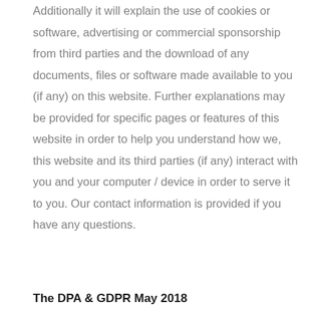Additionally it will explain the use of cookies or software, advertising or commercial sponsorship from third parties and the download of any documents, files or software made available to you (if any) on this website. Further explanations may be provided for specific pages or features of this website in order to help you understand how we, this website and its third parties (if any) interact with you and your computer / device in order to serve it to you. Our contact information is provided if you have any questions.
The DPA & GDPR May 2018